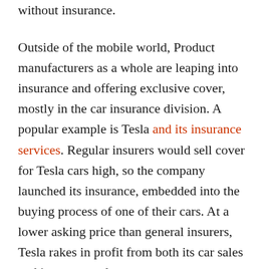without insurance.
Outside of the mobile world, Product manufacturers as a whole are leaping into insurance and offering exclusive cover, mostly in the car insurance division. A popular example is Tesla and its insurance services. Regular insurers would sell cover for Tesla cars high, so the company launched its insurance, embedded into the buying process of one of their cars. At a lower asking price than general insurers, Tesla rakes in profit from both its car sales and insurance sales.
Thus emerges a trend in insurance where products will become more product-specific. More companies are beginning to offer embedded insurance options with their material goods to create another profitable